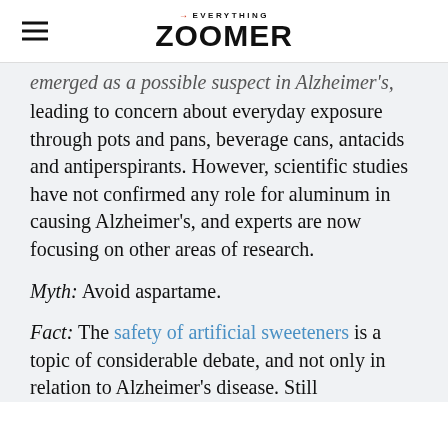→EVERYTHING ZOOMER
emerged as a possible suspect in Alzheimer's, leading to concern about everyday exposure through pots and pans, beverage cans, antacids and antiperspirants. However, scientific studies have not confirmed any role for aluminum in causing Alzheimer's, and experts are now focusing on other areas of research.
Myth: Avoid aspartame.
Fact: The safety of artificial sweeteners is a topic of considerable debate, and not only in relation to Alzheimer's disease. Still